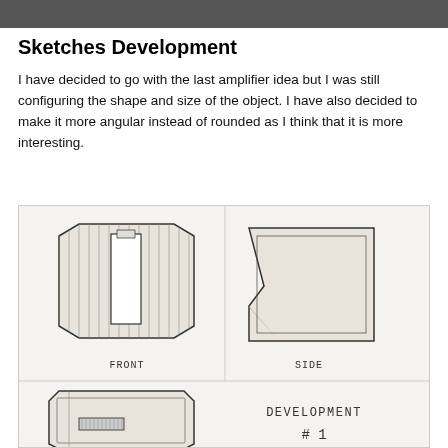[Figure (photo): Top portion of a photo, dark/grey strip]
Sketches Development
I have decided to go with the last amplifier idea but I was still configuring the shape and size of the object. I have also decided to make it more angular instead of rounded as I think that it is more interesting.
[Figure (illustration): Hand-drawn engineering sketches of an amplifier design showing FRONT view (octagonal shape with hatching and a vertical rectangular protrusion), SIDE view (box shape with angled bottom-left corner and hatching), a bottom-left view showing a rectangular device with a small rectangle on front, and a label reading DEVELOPMENT #1]